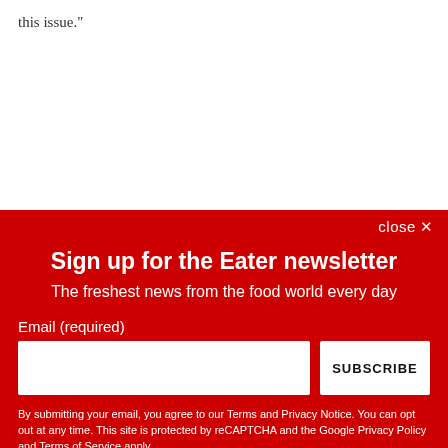this issue."
close ✕
Sign up for the Eater newsletter
The freshest news from the food world every day
Email (required)
SUBSCRIBE
By submitting your email, you agree to our Terms and Privacy Notice. You can opt out at any time. This site is protected by reCAPTCHA and the Google Privacy Policy and Terms of Service apply.